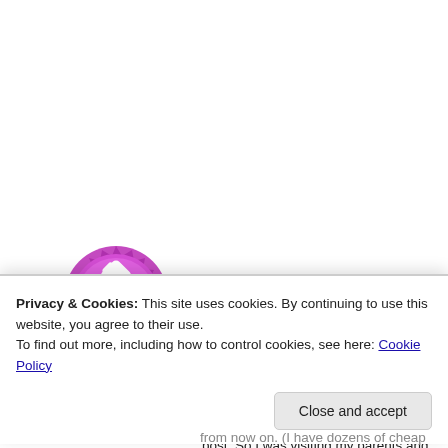[Figure (illustration): User avatar: circular icon with magenta/purple background and white geometric diamond/kite pattern, with spiky purple border]
Adrian | September 5, 2015 at 8:44 am
👍 0 👎 0 ℹ Rate This
Hi, Im a long time lurker and my first post, So I was visiting my parents and was going though a old toolbox and found my Great Uncles watch, he stopped using it in 82 (as Digital was all the rage) and didn't wear it at all, He passed in 1992 and its been apparently sitting in a tool box ever since. I'm pretty
Privacy & Cookies: This site uses cookies. By continuing to use this website, you agree to their use.
To find out more, including how to control cookies, see here: Cookie Policy
Close and accept
from now on. (I have dozens of cheap crap chinese